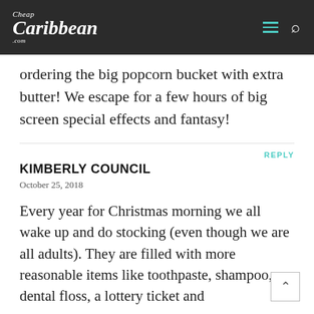Cheap Caribbean .com
ordering the big popcorn bucket with extra butter! We escape for a few hours of big screen special effects and fantasy!
REPLY
KIMBERLY COUNCIL
October 25, 2018
Every year for Christmas morning we all wake up and do stocking (even though we are all adults). They are filled with more reasonable items like toothpaste, shampoo, dental floss, a lottery ticket and